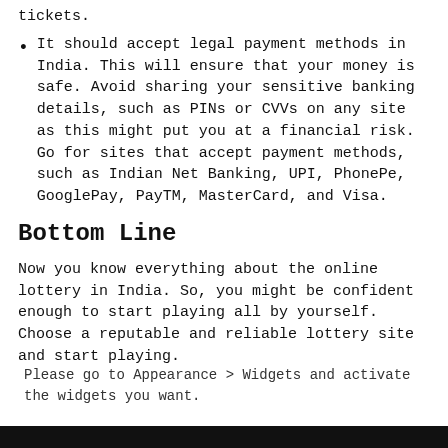It should accept legal payment methods in India. This will ensure that your money is safe. Avoid sharing your sensitive banking details, such as PINs or CVVs on any site as this might put you at a financial risk. Go for sites that accept payment methods, such as Indian Net Banking, UPI, PhonePe, GooglePay, PayTM, MasterCard, and Visa.
Bottom Line
Now you know everything about the online lottery in India. So, you might be confident enough to start playing all by yourself. Choose a reputable and reliable lottery site and start playing.
Please go to Appearance > Widgets and activate the widgets you want.